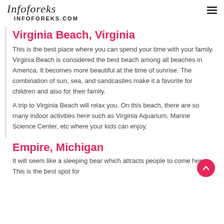Infoforeks
INFOFOREKS.COM
Virginia Beach, Virginia
This is the best place where you can spend your time with your family. Virginia Beach is considered the best beach among all beaches in America. It becomes more beautiful at the time of sunrise. The combination of sun, sea, and sandcastles make it a favorite for children and also for their family.
A trip to Virginia Beach will relax you. On this beach, there are so many indoor activities here such as Virginia Aquarium, Marine Science Center, etc where your kids can enjoy.
Empire, Michigan
It will seem like a sleeping bear which attracts people to come here. This is the best spot for